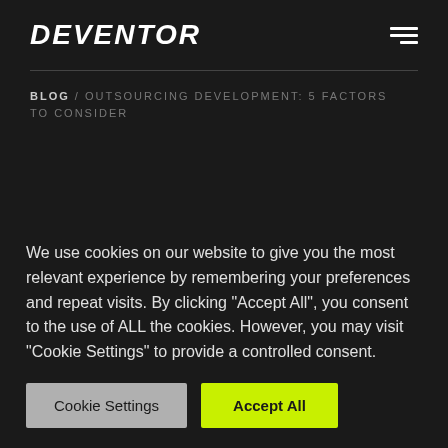DEVENTOR
BLOG / OUTSOURCING DEVELOPMENT: 5 FACTORS TO CONSIDER
OUTSOURCING DEVELOPMENT:
We use cookies on our website to give you the most relevant experience by remembering your preferences and repeat visits. By clicking "Accept All", you consent to the use of ALL the cookies. However, you may visit "Cookie Settings" to provide a controlled consent.
Cookie Settings | Accept All